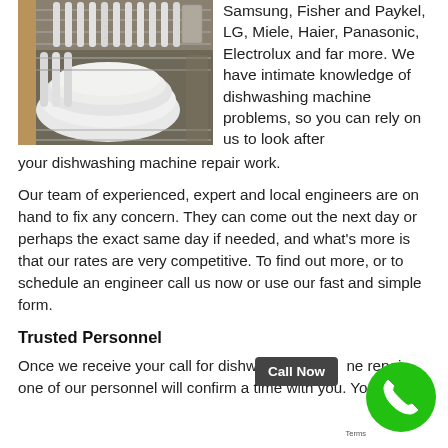[Figure (photo): Open dishwasher loaded with white plates and bowls on the bottom rack]
Samsung, Fisher and Paykel, LG, Miele, Haier, Panasonic, Electrolux and far more. We have intimate knowledge of dishwashing machine problems, so you can rely on us to look after your dishwashing machine repair work.
Our team of experienced, expert and local engineers are on hand to fix any concern. They can come out the next day or perhaps the exact same day if needed, and what's more is that our rates are very competitive. To find out more, or to schedule an engineer call us now or use our fast and simple form.
Trusted Personnel
Once we receive your call for dishwashing machine repair, one of our personnel will confirm a time with you. You will have f...